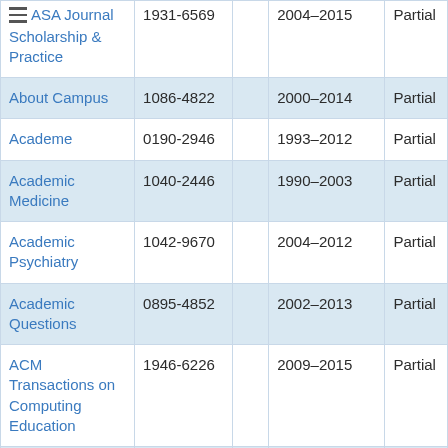| Journal Name | ISSN |  | Date Range | Coverage |
| --- | --- | --- | --- | --- |
| ASA Journal Scholarship & Practice | 1931-6569 |  | 2004–2015 | Partial |
| About Campus | 1086-4822 |  | 2000–2014 | Partial |
| Academe | 0190-2946 |  | 1993–2012 | Partial |
| Academic Medicine | 1040-2446 |  | 1990–2003 | Partial |
| Academic Psychiatry | 1042-9670 |  | 2004–2012 | Partial |
| Academic Questions | 0895-4852 |  | 2002–2013 | Partial |
| ACM Transactions on Computing Education | 1946-6226 |  | 2009–2015 | Partial |
| Acquisitions Librarian | 0896-3576 |  | 2004–2007 | Partial |